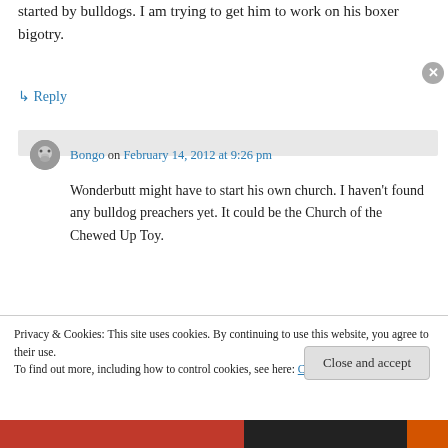started by bulldogs. I am trying to get him to work on his boxer bigotry.
↳ Reply
Bongo on February 14, 2012 at 9:26 pm
Wonderbutt might have to start his own church. I haven't found any bulldog preachers yet. It could be the Church of the Chewed Up Toy.
Privacy & Cookies: This site uses cookies. By continuing to use this website, you agree to their use. To find out more, including how to control cookies, see here: Cookie Policy
Close and accept